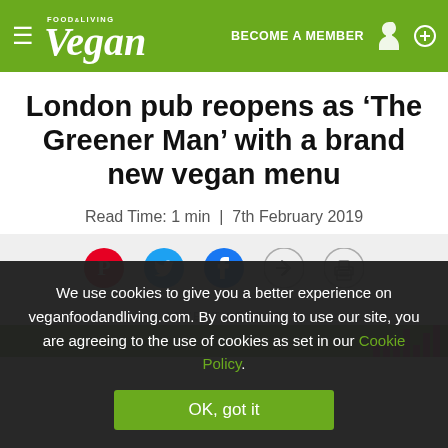Vegan Food & Living — BECOME A MEMBER
London pub reopens as ‘The Greener Man’ with a brand new vegan menu
Read Time: 1 min  |  7th February 2019
[Figure (infographic): Social sharing icons: Pinterest (red), Twitter (blue bird), Facebook (blue f), share arrow, print icon]
ADVERTISEMENT
[Figure (infographic): Green advertisement banner with pink bar chart elements visible on right edge]
We use cookies to give you a better experience on veganfoodandliving.com. By continuing to use our site, you are agreeing to the use of cookies as set in our Cookie Policy.
OK, got it